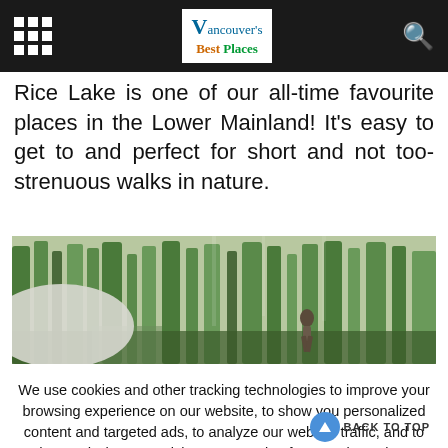Vancouver's Best Places
Rice Lake is one of our all-time favourite places in the Lower Mainland! It's easy to get to and perfect for short and not too-strenuous walks in nature.
[Figure (photo): A person walking among tall trees in a forest near Rice Lake, with dappled light filtering through the foliage.]
We use cookies and other tracking technologies to improve your browsing experience on our website, to show you personalized content and targeted ads, to analyze our website traffic, and to understand where our visitors are coming from. By browsing our website, you consent to our use of cookies and other tracking technologies.